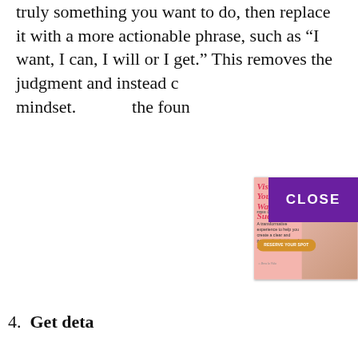truly something you want to do, then replace it with a more actionable phrase, such as “I want, I can, I will or I get.” This removes the judgment and instead c… mindset.… the foun…
4. Get deta… is vague… action ev… judgeme… feel like… unless y… to you it… through.… specifica… know I re… your original “should” statement
[Figure (infographic): Pop-up advertisement overlay: pink background with a woman smiling at a laptop. Title reads 'Vision Board Your Way To Success' in red cursive. Subtitle: 'FREE LIVE 5-DAY CHALLENGE'. Body text: 'A transformative experience to help you create a clear and personalized vision of success.' Orange button: 'RESERVE YOUR SPOT'. Logo: 'Brea la Vida'. Purple CLOSE button in top right corner.]